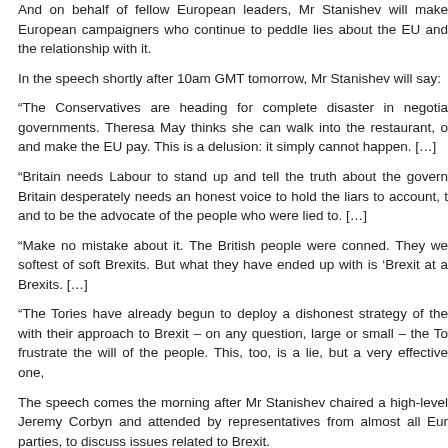And on behalf of fellow European leaders, Mr Stanishev will make European campaigners who continue to peddle lies about the EU and the relationship with it.
In the speech shortly after 10am GMT tomorrow, Mr Stanishev will say:
“The Conservatives are heading for complete disaster in negotiations with other governments. Theresa May thinks she can walk into the restaurant, order the most expensive meal and make the EU pay. This is a delusion: it simply cannot happen. […]
“Britain needs Labour to stand up and tell the truth about the government’s failures. Britain desperately needs an honest voice to hold the liars to account, to cut through the spin and to be the advocate of the people who were lied to. […]
“Make no mistake about it. The British people were conned. They were promised the softest of soft Brexits. But what they have ended up with is ‘Brexit at any cost’, the hardest of Brexits. […]
“The Tories have already begun to deploy a dishonest strategy of the blame game to deal with their approach to Brexit – on any question, large or small – the Tories’ approach is to frustrate the will of the people. This, too, is a lie, but a very effective one,
The speech comes the morning after Mr Stanishev chaired a high-level meeting with Jeremy Corbyn and attended by representatives from almost all European socialist parties, to discuss issues related to Brexit.